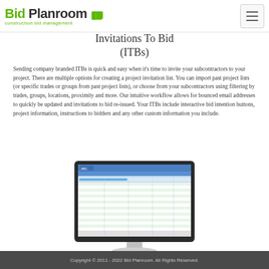Bid Planroom construction bid management
Invitations To Bid (ITBs)
Sending company branded ITBs is quick and easy when it's time to invite your subcontractors to your project. There are multiple options for creating a project invitation list. You can import past project lists (or specific trades or groups from past project lists), or choose from your subcontractors using filtering by trades, groups, locations, proximity and more. Our intuitive workflow allows for bounced email addresses to quickly be updated and invitations to bid re-issued. Your ITBs include interactive bid intention buttons, project information, instructions to bidders and any other custom information you include.
[Figure (screenshot): Computer monitor showing the Bid Planroom web application interface with a project invitation to bid screen.]
Copyright © 2011 - 2022 Bid Planroom. All Rights Reserved.